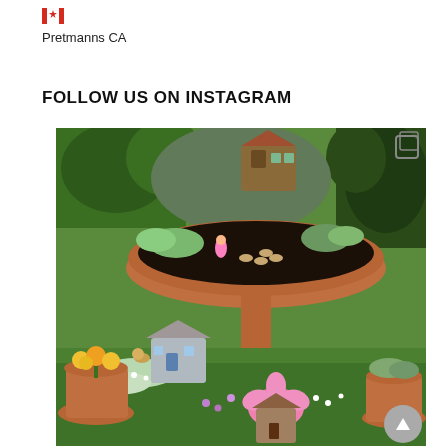[Figure (logo): Canadian flag emoji icon]
Pretmanns CA
FOLLOW US ON INSTAGRAM
[Figure (photo): A colorful fairy garden with miniature fairy houses, fairy figurines, succulents, flowers, and terracotta pots arranged outdoors on green ground cover.]